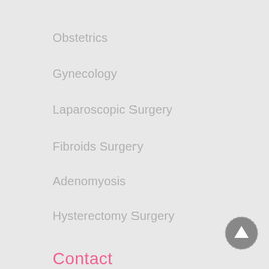Obstetrics
Gynecology
Laparoscopic Surgery
Fibroids Surgery
Adenomyosis
Hysterectomy Surgery
Contact
📍 #C-39, Basant Vihar, Behind Bombay Hospital,